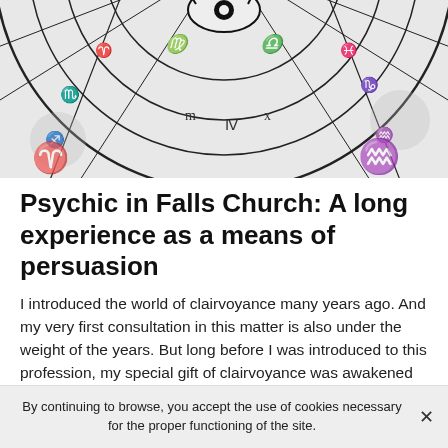[Figure (photo): Close-up of a black and white zodiac/astrology wheel with symbolic glyphs and astrological signs illustrated around the circle, with a decorative sun/moon eye motif at the top center.]
Psychic in Falls Church: A long experience as a means of persuasion
I introduced the world of clairvoyance many years ago. And my very first consultation in this matter is also under the weight of the years. But long before I was introduced to this profession, my special gift of clairvoyance was awakened within me. Indeed, my very first contact with my gift of clairvoyance probably goes back to when I was younger.
By continuing to browse, you accept the use of cookies necessary for the proper functioning of the site.